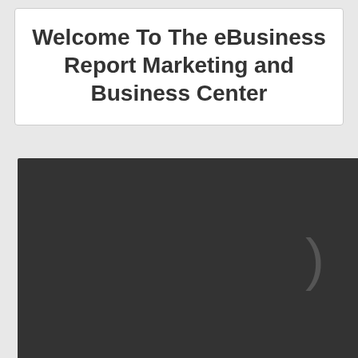Welcome To The eBusiness Report Marketing and Business Center
[Figure (other): Dark gray/charcoal rectangular panel occupying the lower portion of the page, with a closing parenthesis character visible in the lower-right area]